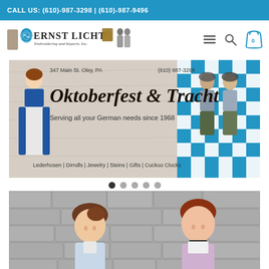CALL US: (610)-987-3298 | (610)-987-9496
[Figure (logo): Ernst Licht Embroidering and Imports Inc. logo with figures in German traditional dress, Bavarian crest, and decorative elements]
[Figure (photo): Oktoberfest & Tracht banner. Address: 347 Main St. Oley, PA (610) 987-3298. Text: Oktoberfest & Tracht, Serving all your German needs since 1968. Categories: Lederhosen | Dirndls | Jewelry | Steins | Gifts | Cuckoo Clocks. Features woman in dirndl on left, two men in lederhosen on right, Bavarian blue/white checkered flag in background.]
[Figure (photo): Two young women smiling, wearing traditional German Tracht/dirndl clothing, standing in front of a stone wall background. One wearing blue/white, one wearing purple/white.]